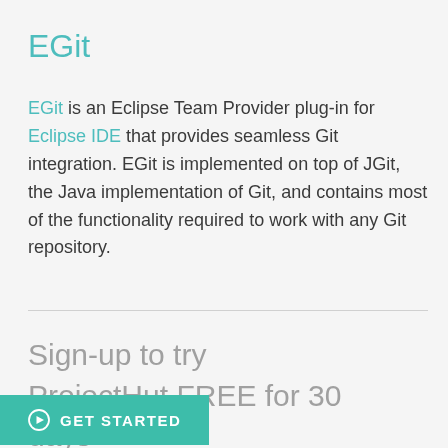EGit
EGit is an Eclipse Team Provider plug-in for Eclipse IDE that provides seamless Git integration. EGit is implemented on top of JGit, the Java implementation of Git, and contains most of the functionality required to work with any Git repository.
Sign-up to try ProjectHut FREE for 30 days
GET STARTED